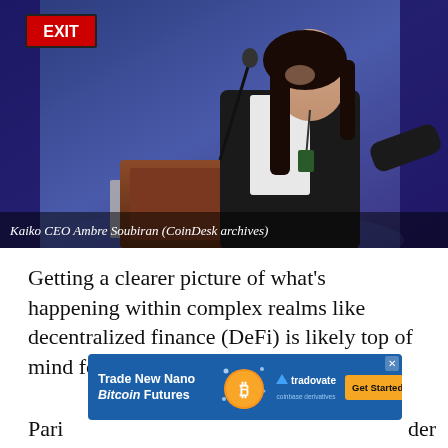[Figure (photo): Woman with long dark hair speaking at a podium with a microphone at a conference. Blue-lit stage background with curtains. A red EXIT sign is visible in the upper left. She is wearing a dark blazer over a white shirt.]
Kaiko CEO Ambre Soubiran (CoinDesk archives)
Getting a clearer picture of what's happening within complex realms like decentralized finance (DeFi) is likely top of mind for many investors right now.
[Figure (other): Advertisement banner for 'Trade New Nano Bitcoin Futures' by Tradovate / Coinbase Derivatives with a Bitcoin coin graphic, sparkle decorations, and a 'Get Started' button.]
Pari...der